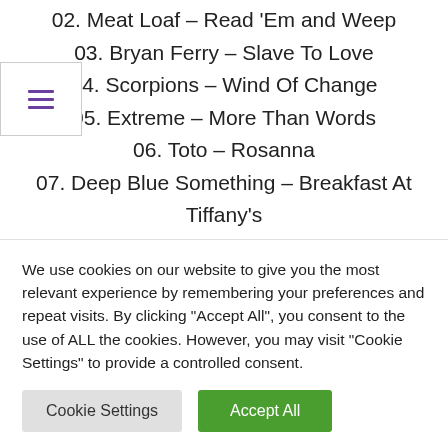02. Meat Loaf – Read 'Em and Weep
03. Bryan Ferry – Slave To Love
04. Scorpions – Wind Of Change
05. Extreme – More Than Words
06. Toto – Rosanna
07. Deep Blue Something – Breakfast At Tiffany's
08. Divinyls – I Touch Myself
09. Meredith Brooks – Bitch
10. Ike and Tina Turner – Nutbush City
We use cookies on our website to give you the most relevant experience by remembering your preferences and repeat visits. By clicking "Accept All", you consent to the use of ALL the cookies. However, you may visit "Cookie Settings" to provide a controlled consent.